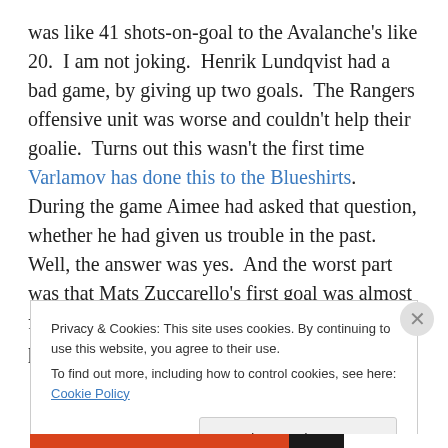was like 41 shots-on-goal to the Avalanche's like 20.  I am not joking.  Henrik Lundqvist had a bad game, by giving up two goals.  The Rangers offensive unit was worse and couldn't help their goalie.  Turns out this wasn't the first time Varlamov has done this to the Blueshirts.  During the game Aimee had asked that question, whether he had given us trouble in the past.  Well, the answer was yes.  And the worst part was that Mats Zuccarello's first goal was almost forgotten because of the unprecedented performance.
Privacy & Cookies: This site uses cookies. By continuing to use this website, you agree to their use.
To find out more, including how to control cookies, see here: Cookie Policy